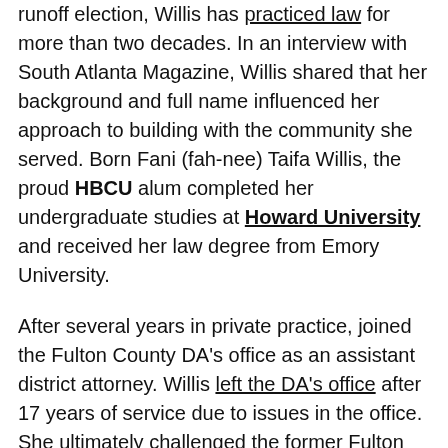runoff election, Willis has practiced law for more than two decades. In an interview with South Atlanta Magazine, Willis shared that her background and full name influenced her approach to building with the community she served. Born Fani (fah-nee) Taifa Willis, the proud HBCU alum completed her undergraduate studies at Howard University and received her law degree from Emory University.
After several years in private practice, joined the Fulton County DA's office as an assistant district attorney. Willis left the DA's office after 17 years of service due to issues in the office. She ultimately challenged the former Fulton County District Attorney Paul Howard, calling it a classic fight against corruption and good vs. bad. Howard faced fierce opposition from Willis and accusations of corruption.
Willis recently requested the Georgia attorney general reassign two high-profile cases out of her jurisdiction. She said her predecessor used the cases as political props in the runoff election and did not believe she could